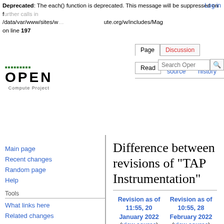Deprecated: The each() function is deprecated. This message will be suppressed on further calls in /data/var/www/sites/w ... ute.org/w/includes/Mag ... on line 197
Log in
Page | Discussion | Read | View source | View history | Search Open
[Figure (logo): Open Compute Project logo with green dot pattern and OPEN text]
Main page
Recent changes
Random page
Help
Tools
What links here
Related changes
Special pages
Printable version
Permanent link
Page information
Difference between revisions of "TAP Instrumentation"
| Revision as of 11:55, 20 January 2022 | Revision as of 10:55, 28 February 2022 |
| --- | --- |
| (view source) | (view source) |
| TAPwiki (talk | contribs) | TAPwiki (talk | contribs) |
| m (→Meeting invite) | m |
|  | Newer edit → |